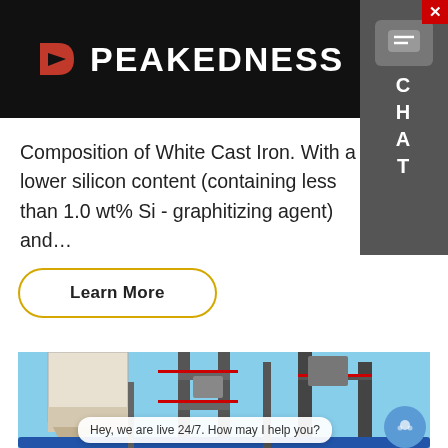PEAKEDNESS
Composition of White Cast Iron. With a lower silicon content (containing less than 1.0 wt% Si - graphitizing agent) and…
Learn More
[Figure (photo): Industrial cement or concrete batching plant with silos, steel framework, red railings and conveyor machinery against a blue sky]
Hey, we are live 24/7. How may I help you?